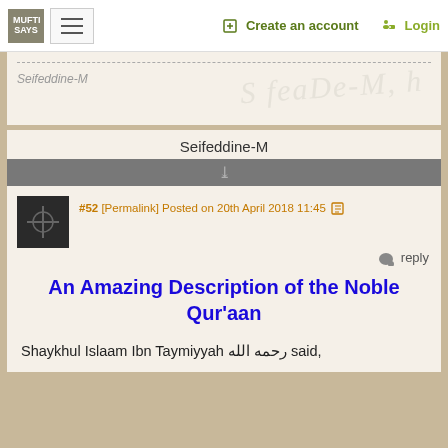MUFTI SAYS  ☰  Create an account  Login
[Figure (screenshot): Signature card showing 'Seifeddine-M' username with a cursive watermark signature in light gray]
Seifeddine-M
#52 [Permalink] Posted on 20th April 2018 11:45
reply
An Amazing Description of the Noble Qur'aan
Shaykhul Islaam Ibn Taymiyyah رحمه الله said,